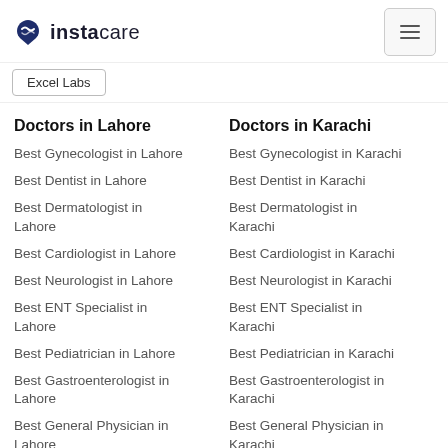instacare
Excel Labs
Doctors in Lahore
Best Gynecologist in Lahore
Best Dentist in Lahore
Best Dermatologist in Lahore
Best Cardiologist in Lahore
Best Neurologist in Lahore
Best ENT Specialist in Lahore
Best Pediatrician in Lahore
Best Gastroenterologist in Lahore
Best General Physician in Lahore
Best Plastic Surgeon in
Doctors in Karachi
Best Gynecologist in Karachi
Best Dentist in Karachi
Best Dermatologist in Karachi
Best Cardiologist in Karachi
Best Neurologist in Karachi
Best ENT Specialist in Karachi
Best Pediatrician in Karachi
Best Gastroenterologist in Karachi
Best General Physician in Karachi
Best Plastic Surgeon in